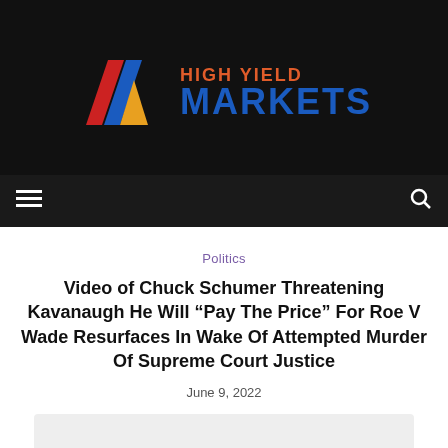HIGH YIELD MARKETS
Politics
Video of Chuck Schumer Threatening Kavanaugh He Will “Pay The Price” For Roe V Wade Resurfaces In Wake Of Attempted Murder Of Supreme Court Justice
June 9, 2022
[Figure (photo): Article thumbnail image placeholder (light gray background)]